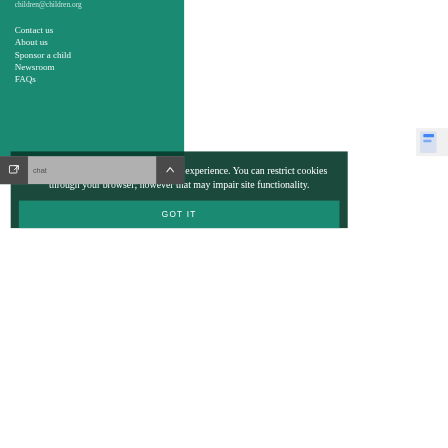children@children.org
Contact us
About us
Sponsor a child
Newsroom
FAQs
Privacy Policy
SIGN UP FOR EMAIL
This site uses cookies to improve your experience. You can restrict cookies through your browser; however that may impair site functionality.
GOT IT
Help
chat